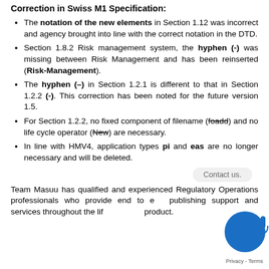Correction in Swiss M1 Specification:
The notation of the new elements in Section 1.12 was incorrect and agency brought into line with the correct notation in the DTD.
Section 1.8.2 Risk management system, the hyphen (-) was missing between Risk Management and has been reinserted (Risk-Management).
The hyphen (–) in Section 1.2.1 is different to that in Section 1.2.2 (-). This correction has been noted for the future version 1.5.
For Section 1.2.2, no fixed component of filename (foadd) and no life cycle operator (New) are necessary.
In line with HMV4, application types pi and eas are no longer necessary and will be deleted.
Team Masuu has qualified and experienced Regulatory Operations professionals who provide end to end publishing support and services throughout the lifecycle of a product.